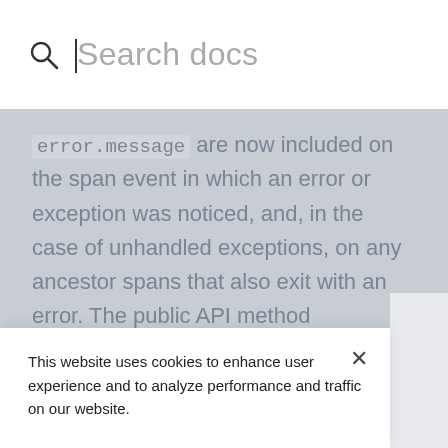Search docs
error.message are now included on the span event in which an error or exception was noticed, and, in the case of unhandled exceptions, on any ancestor spans that also exit with an error. The public API method notice_error now attaches these error attributes to the currently executing span.
Spans with error details are now highlighted
and in the Distributed Tracing UI and span...
This website uses cookies to enhance user experience and to analyze performance and traffic on our website.